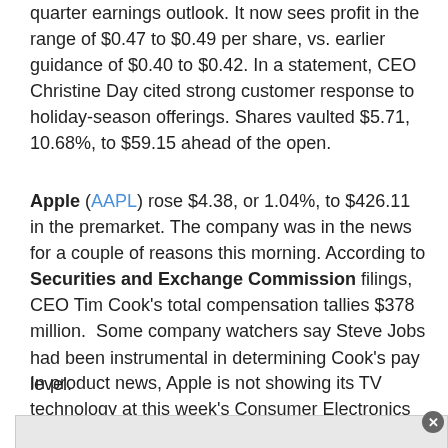quarter earnings outlook. It now sees profit in the range of $0.47 to $0.49 per share, vs. earlier guidance of $0.40 to $0.42. In a statement, CEO Christine Day cited strong customer response to holiday-season offerings. Shares vaulted $5.71, 10.68%, to $59.15 ahead of the open.
Apple (AAPL) rose $4.38, or 1.04%, to $426.11 in the premarket. The company was in the news for a couple of reasons this morning. According to Securities and Exchange Commission filings, CEO Tim Cook's total compensation tallies $378 million. Some company watchers say Steve Jobs had been instrumental in determining Cook's pay level.
In product news, Apple is not showing its TV technology at this week's Consumer Electronics Show in Las Vegas.